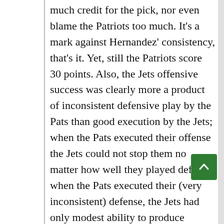much credit for the pick, nor even blame the Patriots too much. It's a mark against Hernandez' consistency, that's it. Yet, still the Patriots score 30 points. Also, the Jets offensive success was clearly more a product of inconsistent defensive play by the Pats than good execution by the Jets; when the Pats executed their offense the Jets could not stop them no matter how well they played defense; when the Pats executed their (very inconsistent) defense, the Jets had only modest ability to produce offense. Their best weapon is deep passes where their big receivers have a huge advantage.
There is a rock-paper-scissors aspect to the way defense and offense match up at times. Brady has always struggled against pressure up the middle. If your defense can bring consistent